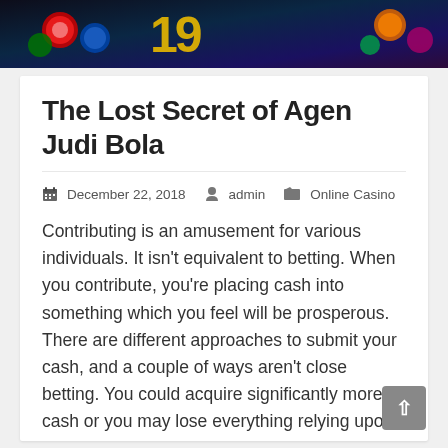[Figure (photo): Banner image with casino/gambling theme showing colorful chips and game items with a dark background and large number styling]
The Lost Secret of Agen Judi Bola
December 22, 2018   admin   Online Casino
Contributing is an amusement for various individuals. It isn't equivalent to betting. When you contribute, you're placing cash into something which you feel will be prosperous. There are different approaches to submit your cash, and a couple of ways aren't close betting. You could acquire significantly more cash or you may lose everything relying upon in the case of something occurs. Contributing is one other approach to procure a salary. Should you ever fall into a huge whole of cash and you aren't sure which approach to go, bear in mind that contributing isn't as hazardous and may acquire you